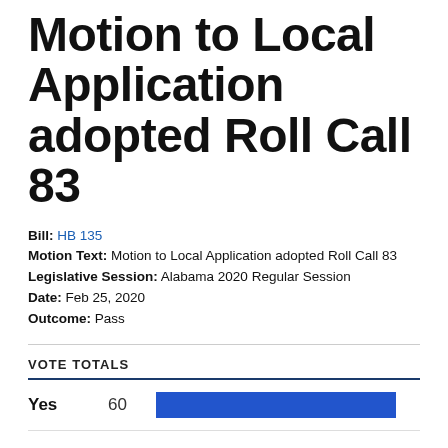Motion to Local Application adopted Roll Call 83
Bill: HB 135
Motion Text: Motion to Local Application adopted Roll Call 83
Legislative Session: Alabama 2020 Regular Session
Date: Feb 25, 2020
Outcome: Pass
VOTE TOTALS
|  | Count | Bar |
| --- | --- | --- |
| Yes | 60 |  |
| No | 0 |  |